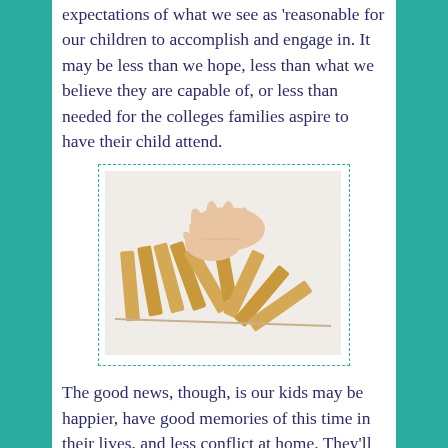expectations of what we see as 'reasonable for our children to accomplish and engage in. It may be less than we hope, less than what we believe they are capable of, or less than needed for the colleges families aspire to have their child attend.
[Figure (photo): A hand stopping a row of falling wooden dominoes, symbolizing intervention or stopping a chain reaction.]
The good news, though, is our kids may be happier, have good memories of this time in their lives, and less conflict at home. They'll also have to learn to self regulate their impulses, set better boundaries on what